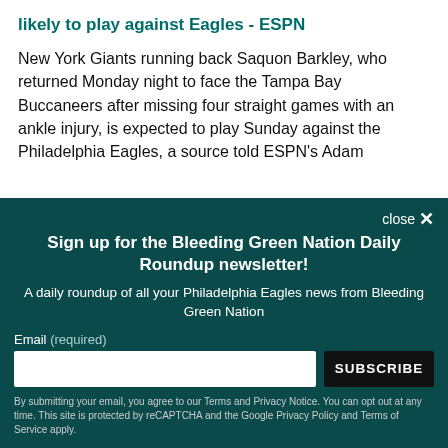likely to play against Eagles - ESPN
New York Giants running back Saquon Barkley, who returned Monday night to face the Tampa Bay Buccaneers after missing four straight games with an ankle injury, is expected to play Sunday against the Philadelphia Eagles, a source told ESPN's Adam
close ×
Sign up for the Bleeding Green Nation Daily Roundup newsletter!
A daily roundup of all your Philadelphia Eagles news from Bleeding Green Nation
Email (required)
SUBSCRIBE
By submitting your email, you agree to our Terms and Privacy Notice. You can opt out at any time. This site is protected by reCAPTCHA and the Google Privacy Policy and Terms of Service apply.